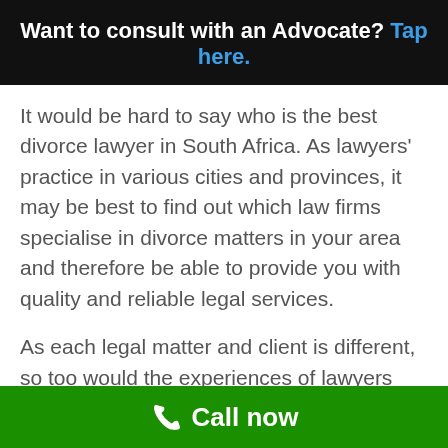Want to consult with an Advocate? Tap here.
It would be hard to say who is the best divorce lawyer in South Africa. As lawyers' practice in various cities and provinces,  it may be best to find out which law firms specialise in divorce matters in your area and therefore be able to provide you with quality and reliable legal services.
As each legal matter and client is different,  so too would the experiences of lawyers differ.
At the end of the day, you would seek a legal representative that has the necessary expertise and
Call now